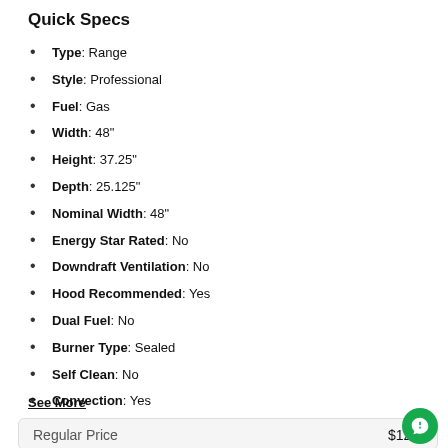Quick Specs
Type: Range
Style: Professional
Fuel: Gas
Width: 48"
Height: 37.25"
Depth: 25.125"
Nominal Width: 48"
Energy Star Rated: No
Downdraft Ventilation: No
Hood Recommended: Yes
Dual Fuel: No
Burner Type: Sealed
Self Clean: No
Convection: Yes
First Oven: 4.8 cu. ft.
Hidden Bake Element: No
Continuous Grate: Yes
Sabbath Mode: No
WiFi Connected: No
See More
Regular Price $12...